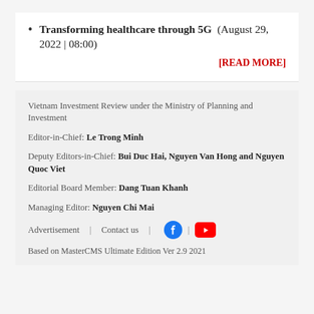Transforming healthcare through 5G (August 29, 2022 | 08:00)
[READ MORE]
Vietnam Investment Review under the Ministry of Planning and Investment
Editor-in-Chief: Le Trong Minh
Deputy Editors-in-Chief: Bui Duc Hai, Nguyen Van Hong and Nguyen Quoc Viet
Editorial Board Member: Dang Tuan Khanh
Managing Editor: Nguyen Chi Mai
Advertisement | Contact us |
Based on MasterCMS Ultimate Edition Ver 2.9 2021